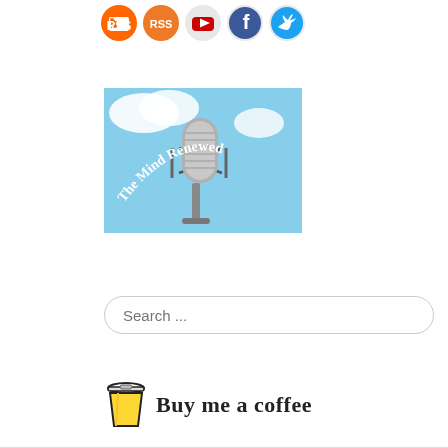[Figure (logo): Social media icons: RSS feed, YouTube, Facebook, Twitter in circular icon style]
[Figure (photo): The Mind Renewed podcast logo: microphone against blue sky with cursive text 'The Mind Renewed' arranged in arc]
[Figure (other): Search input box with placeholder text 'Search ...']
[Figure (logo): Buy Me a Coffee button with cup icon and text 'Buy me a coffee' in handwritten font]